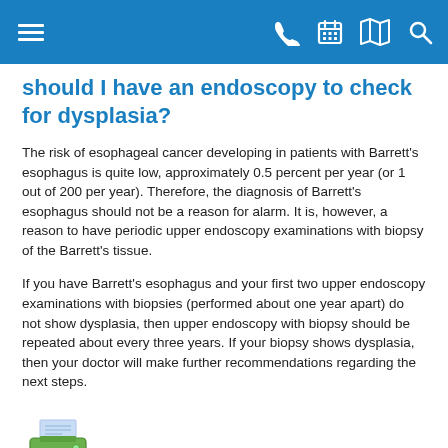Navigation bar with menu, phone, calendar, map, and search icons
should I have an endoscopy to check for dysplasia?
The risk of esophageal cancer developing in patients with Barrett's esophagus is quite low, approximately 0.5 percent per year (or 1 out of 200 per year). Therefore, the diagnosis of Barrett's esophagus should not be a reason for alarm. It is, however, a reason to have periodic upper endoscopy examinations with biopsy of the Barrett's tissue.
If you have Barrett's esophagus and your first two upper endoscopy examinations with biopsies (performed about one year apart) do not show dysplasia, then upper endoscopy with biopsy should be repeated about every three years. If your biopsy shows dysplasia, then your doctor will make further recommendations regarding the next steps.
[Figure (illustration): Printer icon — a small desktop printer graphic in blue and green]